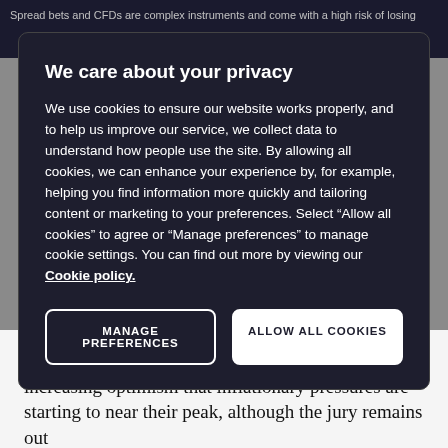Spread bets and CFDs are complex instruments and come with a high risk of losing
We care about your privacy
We use cookies to ensure our website works properly, and to help us improve our service, we collect data to understand how people use the site. By allowing all cookies, we can enhance your experience by, for example, helping you find information more quickly and tailoring content or marketing to your preferences. Select “Allow all cookies” to agree or “Manage preferences” to manage cookie settings. You can find out more by viewing our Cookie policy.
MANAGE PREFERENCES
ALLOW ALL COOKIES
In the recent CPI numbers, there does appear to be increasing optimism that inflationary pressures are starting to near their peak, although the jury remains out